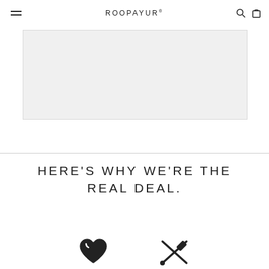ROOPAYUR
[Figure (other): Light gray placeholder image box]
HERE'S WHY WE'RE THE REAL DEAL.
[Figure (illustration): Heart icon and crossed tools/pen icon at bottom of page]